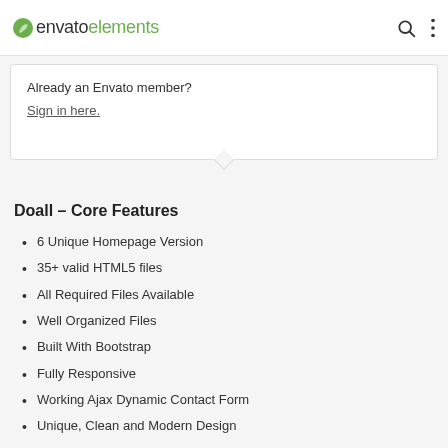envato elements
Already an Envato member? Sign in here.
Doall – Core Features
6 Unique Homepage Version
35+ valid HTML5 files
All Required Files Available
Well Organized Files
Built With Bootstrap
Fully Responsive
Working Ajax Dynamic Contact Form
Unique, Clean and Modern Design
W3c validator
Pixel Perfect Design